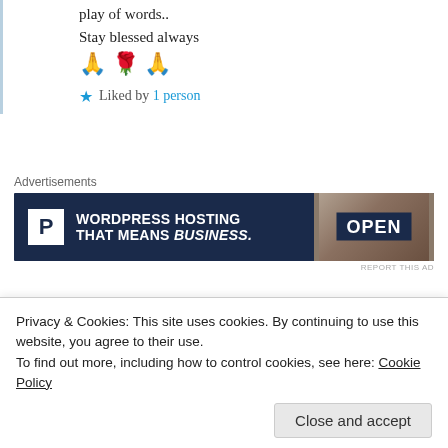play of words..
Stay blessed always
🙏 🌹 🙏
Liked by 1 person
Advertisements
[Figure (screenshot): WordPress hosting advertisement banner with dark navy background, white P logo box, text 'WORDPRESS HOSTING THAT MEANS BUSINESS.' and an OPEN sign photo on the right]
REPORT THIS AD
Offshorewriter
1st Jul 2021 at 10:55 am
Privacy & Cookies: This site uses cookies. By continuing to use this website, you agree to their use.
To find out more, including how to control cookies, see here: Cookie Policy
Close and accept